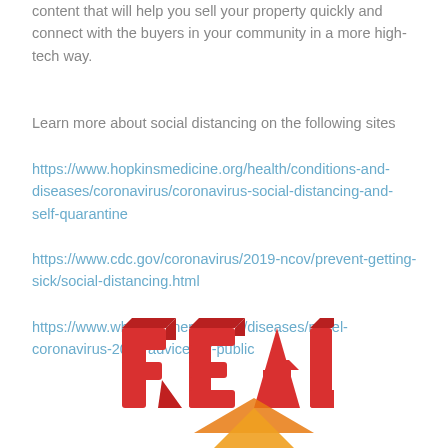content that will help you sell your property quickly and connect with the buyers in your community in a more high-tech way.
Learn more about social distancing on the following sites
https://www.hopkinsmedicine.org/health/conditions-and-diseases/coronavirus/coronavirus-social-distancing-and-self-quarantine
https://www.cdc.gov/coronavirus/2019-ncov/prevent-getting-sick/social-distancing.html
https://www.who.int/emergencies/diseases/novel-coronavirus-2019/advice-for-public
[Figure (photo): 3D red bold text partially visible at bottom of page, appearing to spell 'REAL' or similar, with orange/yellow element visible beneath]